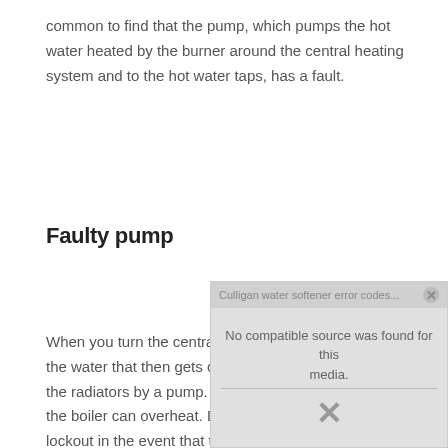common to find that the pump, which pumps the hot water heated by the burner around the central heating system and to the hot water taps, has a fault.
Faulty pump
When you turn the central heating on, the burner heats the water that then gets circulated around the pipes to the radiators by a pump. If the pump isn't working, then the boiler can overheat. Due to this, the burner will lockout in the event that the pump stops working.
[Figure (screenshot): Video player placeholder showing 'Culligan water softener error codes...' title bar with close button, 'No compatible source was found for this media.' message, and a large X cross icon at the bottom.]